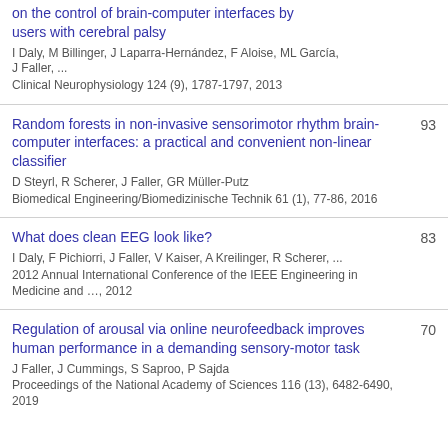... on the control of brain-computer interfaces by users with cerebral palsy — I Daly, M Billinger, J Laparra-Hernández, F Aloise, ML García, J Faller, ... — Clinical Neurophysiology 124 (9), 1787-1797, 2013 — citation count: [cut off at top]
Random forests in non-invasive sensorimotor rhythm brain-computer interfaces: a practical and convenient non-linear classifier — D Steyrl, R Scherer, J Faller, GR Müller-Putz — Biomedical Engineering/Biomedizinische Technik 61 (1), 77-86, 2016 — citation count: 93
What does clean EEG look like? — I Daly, F Pichiorri, J Faller, V Kaiser, A Kreilinger, R Scherer, ... — 2012 Annual International Conference of the IEEE Engineering in Medicine and …, 2012 — citation count: 83
Regulation of arousal via online neurofeedback improves human performance in a demanding sensory-motor task — J Faller, J Cummings, S Saproo, P Sajda — Proceedings of the National Academy of Sciences 116 (13), 6482-6490, 2019 — citation count: 70